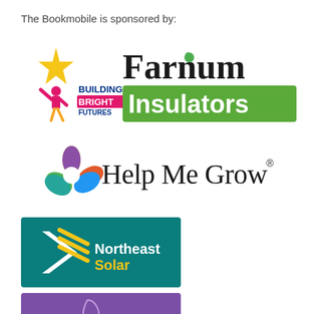The Bookmobile is sponsored by:
[Figure (logo): Building Bright Futures logo with star and child figure]
[Figure (logo): Farnum Insulators logo with green banner]
[Figure (logo): Help Me Grow logo with colorful flower petals]
[Figure (logo): Northeast Solar logo with teal background and arrow/rays]
[Figure (logo): New Chapter logo with purple background and plant/book icon]